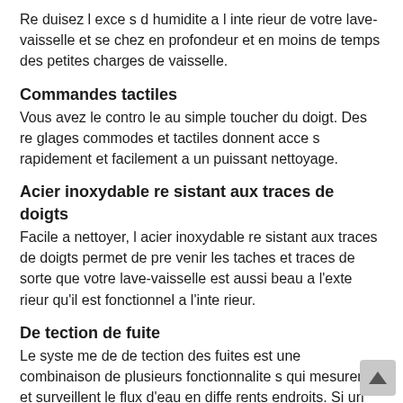Re duisez l exce s d humidite a l inte rieur de votre lave-vaisselle et se chez en profondeur et en moins de temps des petites charges de vaisselle.
Commandes tactiles
Vous avez le contro le au simple toucher du doigt. Des re glages commodes et tactiles donnent acce s rapidement et facilement a un puissant nettoyage.
Acier inoxydable re sistant aux traces de doigts
Facile a nettoyer, l acier inoxydable re sistant aux traces de doigts permet de pre venir les taches et traces de sorte que votre lave-vaisselle est aussi beau a l'exte rieur qu'il est fonctionnel a l'inte rieur.
De tection de fuite
Le syste me de de tection des fuites est une combinaison de plusieurs fonctionnalite s qui mesurent et surveillent le flux d'eau en diffe rents endroits. Si un proble me est de tecte , l'unite peut re agir en drainant la cuve et en vous alertant si ne